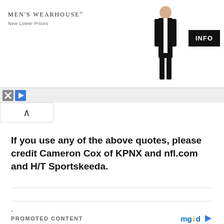[Figure (photo): Men's Wearhouse advertisement banner with couple in formal wear and a man in tuxedo, with INFO button]
If you use any of the above quotes, please credit Cameron Cox of KPNX and nfl.com and H/T Sportskeeda.
.
PROMOTED CONTENT